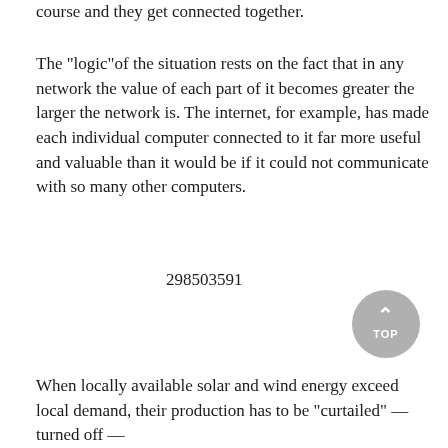course and they get connected together.
The "logic"of the situation rests on the fact that in any network the value of each part of it becomes greater the larger the network is. The internet, for example, has made each individual computer connected to it far more useful and valuable than it would be if it could not communicate with so many other computers.
298503591
When locally available solar and wind energy exceed local demand, their production has to be "curtailed" — turned off —